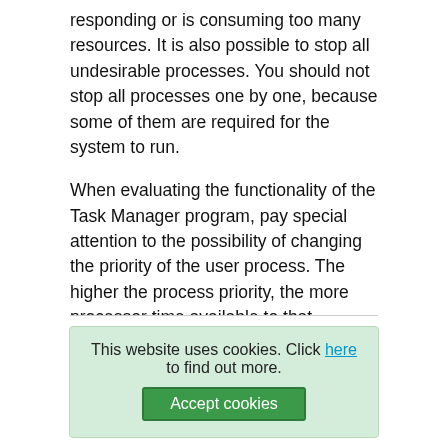responding or is consuming too many resources. It is also possible to stop all undesirable processes. You should not stop all processes one by one, because some of them are required for the system to run.
When evaluating the functionality of the Task Manager program, pay special attention to the possibility of changing the priority of the user process. The higher the process priority, the more processor time available to that process. This allows you to manage and control the tasks running in the system and to optimize the operation of computer hardware, optimized and fine-tuned beforehand using the previously described programs.
This website uses cookies. Click here to find out more. Accept cookies